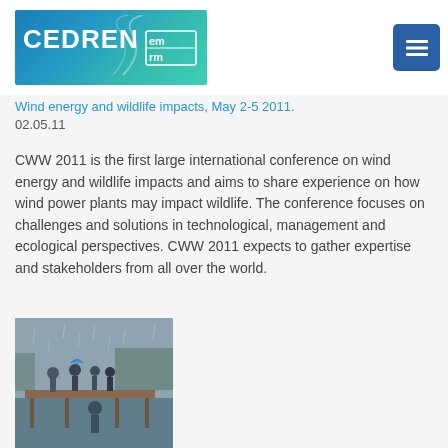[Figure (logo): CEDREN logo with teal/blue gradient background and white text, with an em/rm icon on the right]
[Figure (other): Dark blue square menu/hamburger button icon in top right corner]
Wind energy and wildlife impacts, May 2-5 2011.
02.05.11
CWW 2011 is the first large international conference on wind energy and wildlife impacts and aims to share experience on how wind power plants may impact wildlife. The conference focuses on challenges and solutions in technological, management and ecological perspectives. CWW 2011 expects to gather expertise and stakeholders from all over the world.
[Figure (photo): Outdoor photo of a group of people standing on a wooden dock or platform in rainy conditions, some with umbrellas, water visible in the background]